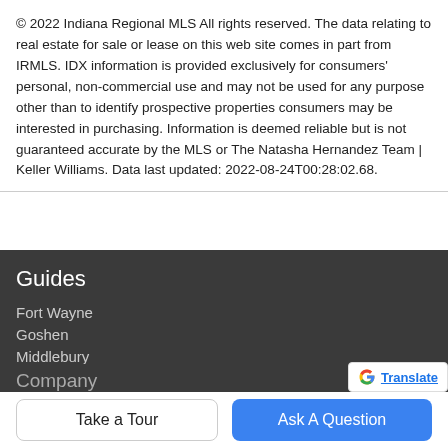© 2022 Indiana Regional MLS All rights reserved. The data relating to real estate for sale or lease on this web site comes in part from IRMLS. IDX information is provided exclusively for consumers' personal, non-commercial use and may not be used for any purpose other than to identify prospective properties consumers may be interested in purchasing. Information is deemed reliable but is not guaranteed accurate by the MLS or The Natasha Hernandez Team | Keller Williams. Data last updated: 2022-08-24T00:28:02.68.
Guides
Fort Wayne
Goshen
Middlebury
Mishawaka
Nappanee
Company